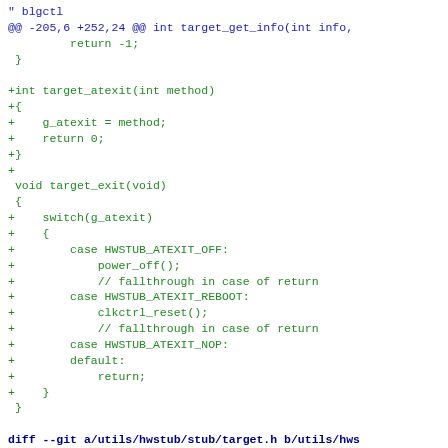Code diff showing modifications to target.c and target.h files including addition of target_atexit function and target_exit switch statement